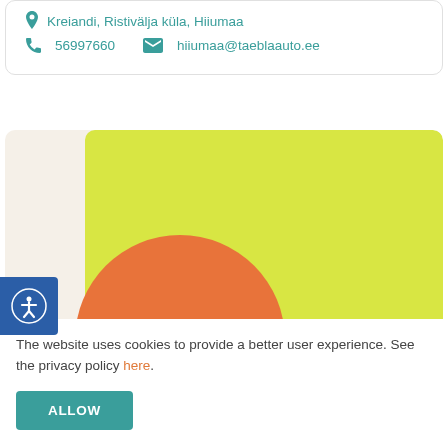Kreiandi, Ristivälja küla, Hiiumaa
56997660   hiiumaa@taeblaauto.ee
[Figure (illustration): Decorative graphic with a light cream background, a large yellow-green rectangle on the right, and a large orange circle in the lower-left area.]
The website uses cookies to provide a better user experience. See the privacy policy here.
ALLOW